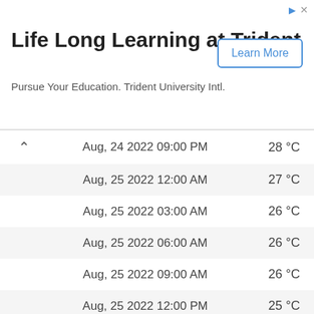[Figure (other): Advertisement banner for Trident University with title 'Life Long Learning at Trident', subtitle 'Pursue Your Education. Trident University Intl.', and a 'Learn More' button]
|  | DateTime | Temperature |
| --- | --- | --- |
| ^ | Aug, 24 2022 09:00 PM | 28 °C |
|  | Aug, 25 2022 12:00 AM | 27 °C |
|  | Aug, 25 2022 03:00 AM | 26 °C |
|  | Aug, 25 2022 06:00 AM | 26 °C |
|  | Aug, 25 2022 09:00 AM | 26 °C |
|  | Aug, 25 2022 12:00 PM | 25 °C |
|  | Aug, 25 2022 03:00 PM | 28 °C |
|  | Aug, 25 2022 06:00 PM | 30 °C |
|  | Aug, 25 2022 09:00 PM | 31 °C |